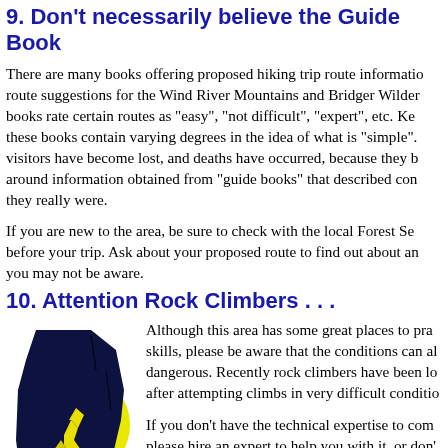9. Don't necessarily believe the Guide Book
There are many books offering proposed hiking trip route information and route suggestions for the Wind River Mountains and Bridger Wilderness. These books rate certain routes as "easy", "not difficult", "expert", etc. Keep in mind these books contain varying degrees in the idea of what is "simple". Many visitors have become lost, and deaths have occurred, because they based trips around information obtained from "guide books" that described conditions easier than they really were.
If you are new to the area, be sure to check with the local Forest Service before your trip. Ask about your proposed route to find out about any conditions you may not be aware.
10. Attention Rock Climbers . . .
[Figure (illustration): Silhouette illustration of a rock climber on a cliff face with a yellow circular background, dark navy/black coloring]
Although this area has some great places to practice skills, please be aware that the conditions can also be dangerous. Recently rock climbers have been lost after attempting climbs in very difficult conditions.
If you don't have the technical expertise to complete a climb, please hire an expert to help you with it, or don't do it. Many ice climbs require considerable technical expertise and are dangerous. Be sure to check with the local Forest